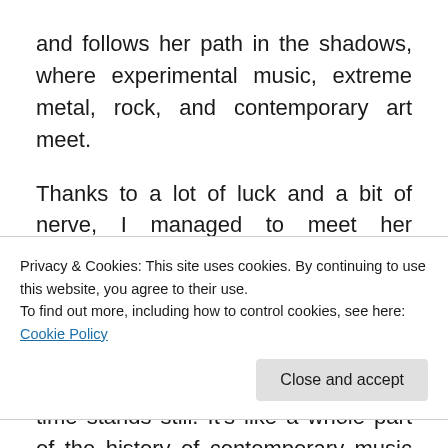and follows her path in the shadows, where experimental music, extreme metal, rock, and contemporary art meet.
Thanks to a lot of luck and a bit of nerve, I managed to meet her somewhat against all odds after her show with Father Murphy at Roadburn, a couple of months ago. The interview was short, but when Jarboe talks, sharp and generous, time stands still. It's like a whole part of the history of contemporary music coming to life. Off the record,
Privacy & Cookies: This site uses cookies. By continuing to use this website, you agree to their use.
To find out more, including how to control cookies, see here: Cookie Policy
Close and accept